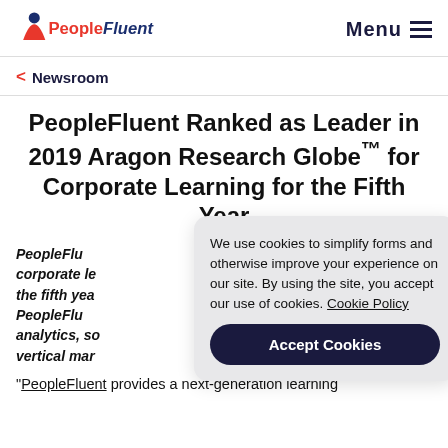PeopleFluent | Menu
< Newsroom
PeopleFluent Ranked as Leader in 2019 Aragon Research Globe™ for Corporate Learning for the Fifth Year
PeopleFluent corporate le the fifth yea PeopleFluent analytics, so vertical mar
We use cookies to simplify forms and otherwise improve your experience on our site. By using the site, you accept our use of cookies. Cookie Policy
Accept Cookies
"PeopleFluent provides a next-generation learning